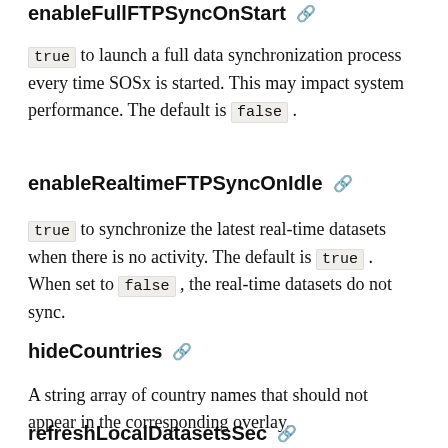enableFullFTPSyncOnStart
true to launch a full data synchronization process every time SOSx is started. This may impact system performance. The default is false .
enableRealtimeFTPSyncOnIdle
true to synchronize the latest real-time datasets when there is no activity. The default is true . When set to false , the real-time datasets do not sync.
hideCountries
A string array of country names that should not appear in the corresponding overlay.
refreshLocalDatasetsSec